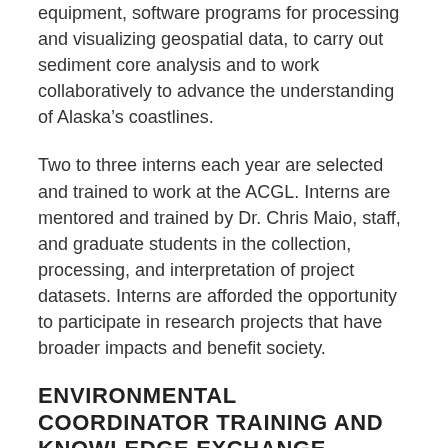equipment, software programs for processing and visualizing geospatial data, to carry out sediment core analysis and to work collaboratively to advance the understanding of Alaska’s coastlines.
Two to three interns each year are selected and trained to work at the ACGL. Interns are mentored and trained by Dr. Chris Maio, staff, and graduate students in the collection, processing, and interpretation of project datasets. Interns are afforded the opportunity to participate in research projects that have broader impacts and benefit society.
ENVIRONMENTAL COORDINATOR TRAINING AND KNOWLEDGE EXCHANGE
The ACGL conducts a variety of education workshops and programs within K-12 schools and also provides community and regional workshops. The goal of the